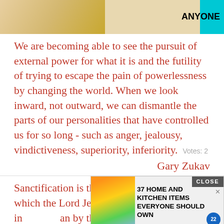[Figure (photo): Advertisement banner at top with teal/cyan background showing kitchen items and text 'ANYONE']
We are becoming able to see the pursuit of external power for what it is and the futility of trying to escape the pain of powerlessness by changing the world. When we look inward, not outward, we can dismantle the parts of our personalities that have controlled us for so long - such as anger, jealousy, vindictiveness, superiority, inferiority.    Votes: 2
Gary Zukav
Sanctification is that inward spiritual work which the Lord Jesus Christ works in a man by the H[oly Spirit in every t]rue believer. He not only washes him from his sins in His own blood, but He also separates him
[Figure (photo): Advertisement overlay showing colorful bags with text '37 HOME AND KITCHEN ITEMS EVERYONE SHOULD OWN' with a CLOSE button and number 22]